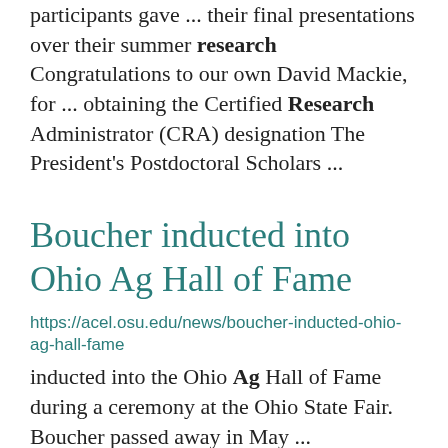participants gave ... their final presentations over their summer research Congratulations to our own David Mackie, for ... obtaining the Certified Research Administrator (CRA) designation The President's Postdoctoral Scholars ...
Boucher inducted into Ohio Ag Hall of Fame
https://acel.osu.edu/news/boucher-inducted-ohio-ag-hall-fame
inducted into the Ohio Ag Hall of Fame during a ceremony at the Ohio State Fair. Boucher passed away in May ...